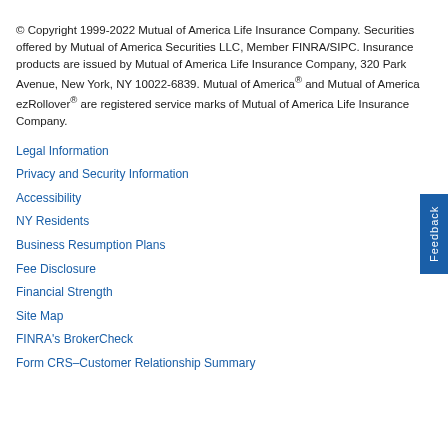© Copyright 1999-2022 Mutual of America Life Insurance Company. Securities offered by Mutual of America Securities LLC, Member FINRA/SIPC. Insurance products are issued by Mutual of America Life Insurance Company, 320 Park Avenue, New York, NY 10022-6839. Mutual of America® and Mutual of America ezRollover® are registered service marks of Mutual of America Life Insurance Company.
Legal Information
Privacy and Security Information
Accessibility
NY Residents
Business Resumption Plans
Fee Disclosure
Financial Strength
Site Map
FINRA's BrokerCheck
Form CRS–Customer Relationship Summary